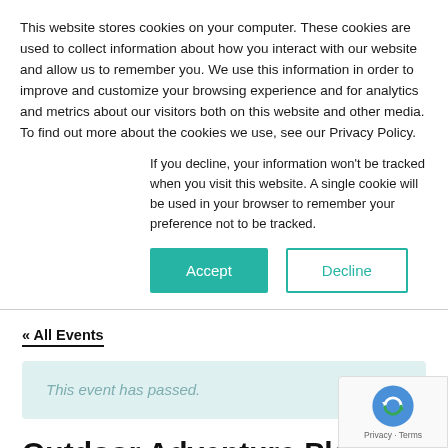This website stores cookies on your computer. These cookies are used to collect information about how you interact with our website and allow us to remember you. We use this information in order to improve and customize your browsing experience and for analytics and metrics about our visitors both on this website and other media. To find out more about the cookies we use, see our Privacy Policy.
If you decline, your information won't be tracked when you visit this website. A single cookie will be used in your browser to remember your preference not to be tracked.
Accept
Decline
« All Events
This event has passed.
Outdoor Adventure Play Day